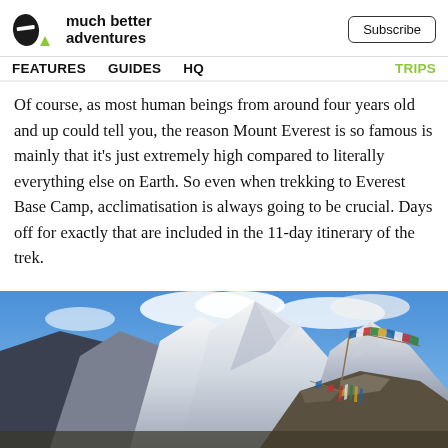much better adventures | Subscribe | FEATURES  GUIDES  HQ  TRIPS
Of course, as most human beings from around four years old and up could tell you, the reason Mount Everest is so famous is mainly that it’s just extremely high compared to literally everything else on Earth. So even when trekking to Everest Base Camp, acclimatisation is always going to be crucial. Days off for exactly that are included in the 11-day itinerary of the trek.
[Figure (photo): Photo of snow-capped mountain peaks with colourful Buddhist prayer flags on a rocky mound in the foreground, against a blue sky with clouds — Everest Base Camp area.]